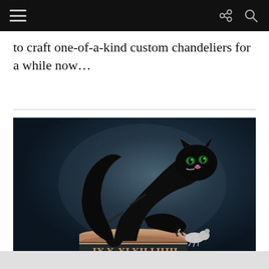[Navigation bar with hamburger menu, share icon, and search icon]
to craft one-of-a-kind custom chandeliers for a while now…
[Figure (photo): A glossy black cat sculpture with green eyes and pink mouth, crouching dramatically on a round clock pedestal with Roman numerals in rose gold/copper, with a small white mouse sculpture at its feet. Dark dramatic background with spotlight effect.]